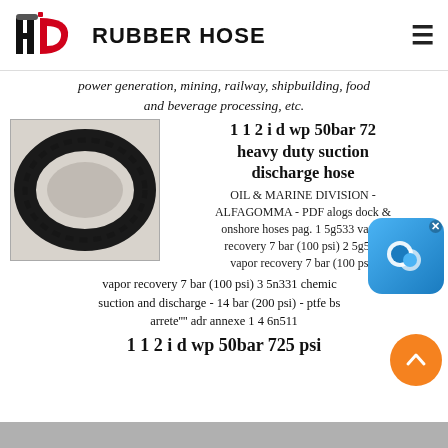HD RUBBER HOSE
power generation, mining, railway, shipbuilding, food and beverage processing, etc.
1 1 2 i d wp 50bar 725 psi heavy duty suction discharge hose
[Figure (photo): Black rubber hose coiled in a loop, viewed from above]
OIL & MARINE DIVISION - ALFAGOMMA - PDF alogs dock & onshore hoses pag. 1 5g533 vapor recovery 7 bar (100 psi) 2 5g551 vapor recovery 7 bar (100 psi) 3 5n331 chemical suction and discharge - 14 bar (200 psi) - ptfe bs arrete'''' adr annexe 1 4 6n511
1 1 2 i d wp 50bar 725 psi